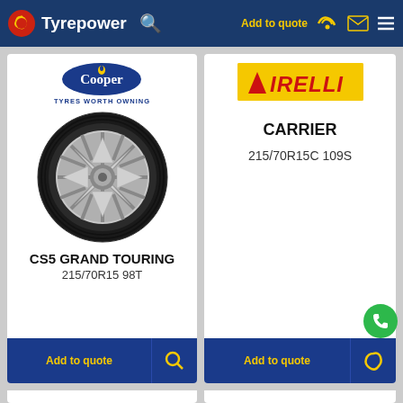Tyrepower
[Figure (logo): Cooper Tyres logo with oval blue badge and TYRES WORTH OWNING tagline]
[Figure (photo): Cooper CS5 Grand Touring tyre on alloy wheel]
CS5 GRAND TOURING
215/70R15 98T
[Figure (logo): Pirelli logo yellow background red text]
CARRIER
215/70R15C 109S